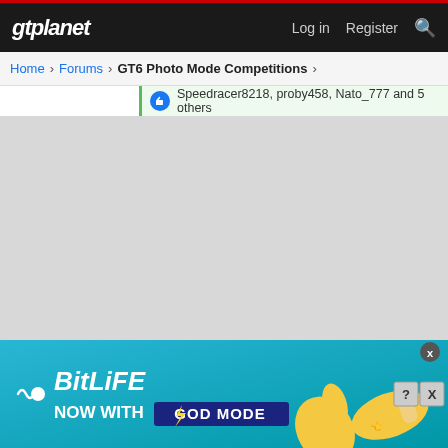gtplanet — Log in  Register
Home > Forums > GT6 Photo Mode Competitions >
Speedracer8218, proby458, Nato_777 and 5 others
[Figure (screenshot): Advertisement banner for BitLife: Now With God Mode app, with cartoon hands pointing, on a teal/cyan gradient background.]